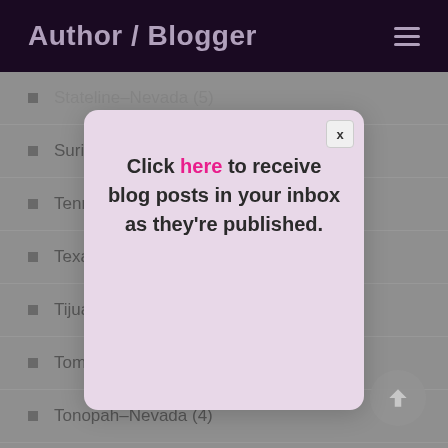Author / Blogger
Stateline–Nevada (5)
Suriname (1)
Tennessee (1)
Texas (4)
Tijuana, Mexico
Tombstone–Arizona (1)
Tonopah–Nevada (4)
Tulsa–Oklahoma (2)
[Figure (screenshot): Modal popup with close button (x) and text: Click here to receive blog posts in your inbox as they're published.]